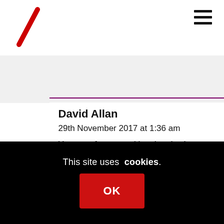David Allan
29th November 2017 at 1:36 am
You are of course taking the piss !
On 26.9.17 Liam Furby wrote on the SNP website “95% of adults view their neighbourhood as a very or fairly good place to live.”
Not sure what context Liam was
This site uses cookies.